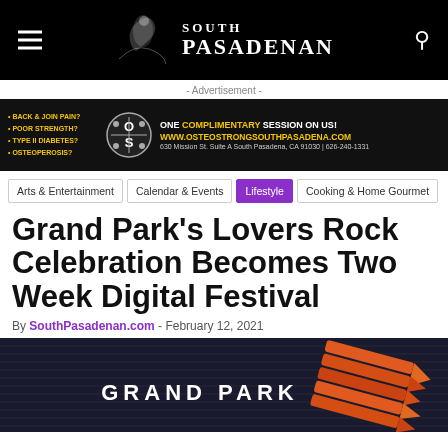South Pasadenan
[Figure (infographic): OsteoStrong South Pasadena advertisement banner: Back & Join Pain? Poor Strength? Type II Diabetes? Osteoperosis? — ONE COMPLIMENTARY SESSION ON US! www.osteostrongsouthpasadena.com — 630 Mission St. Suite A South Pasadena, CA 91030 | 626-240-1331]
- Advertisement -
Arts & Entertainment  Calendar & Events  Lifestyle  Cooking & Home Gourmet
Grand Park's Lovers Rock Celebration Becomes Two Week Digital Festival
By SouthPasadenan.com - February 12, 2021
[Figure (photo): Dark banner image with 'GRAND PARK' text in white bold letters and a graphic of bundled arrows in orange/red on the right side, against a dark navy striped background.]